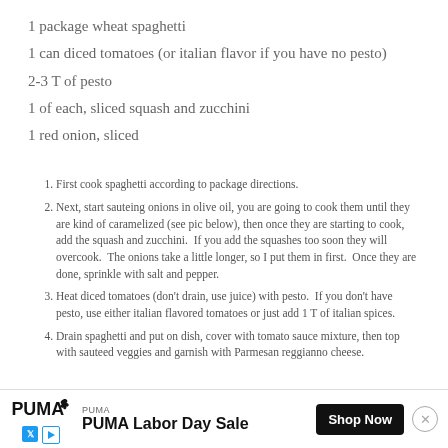1 package wheat spaghetti
1 can diced tomatoes (or italian flavor if you have no pesto)
2-3 T of pesto
1 of each, sliced squash and zucchini
1 red onion, sliced
First cook spaghetti according to package directions.
Next, start sauteing onions in olive oil, you are going to cook them until they are kind of caramelized (see pic below), then once they are starting to cook, add the squash and zucchini.  If you add the squashes too soon they will overcook.  The onions take a little longer, so I put them in first.  Once they are done, sprinkle with salt and pepper.
Heat diced tomatoes (don't drain, use juice) with pesto.  If you don't have pesto, use either italian flavored tomatoes or just add 1 T of italian spices.
Drain spaghetti and put on dish, cover with tomato sauce mixture, then top with sauteed veggies and garnish with Parmesan reggianno cheese.
PUMA Labor Day Sale